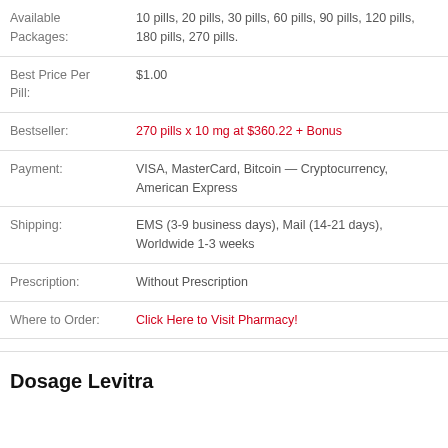| Field | Value |
| --- | --- |
| Available Packages: | 10 pills, 20 pills, 30 pills, 60 pills, 90 pills, 120 pills, 180 pills, 270 pills. |
| Best Price Per Pill: | $1.00 |
| Bestseller: | 270 pills x 10 mg at $360.22 + Bonus |
| Payment: | VISA, MasterCard, Bitcoin — Cryptocurrency, American Express |
| Shipping: | EMS (3-9 business days), Mail (14-21 days), Worldwide 1-3 weeks |
| Prescription: | Without Prescription |
| Where to Order: | Click Here to Visit Pharmacy! |
Dosage Levitra